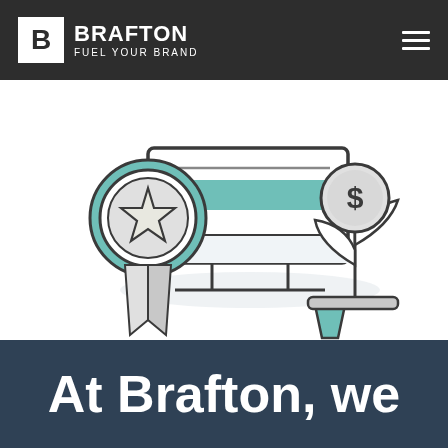BRAFTON FUEL YOUR BRAND
[Figure (illustration): Illustration showing a merit/award ribbon with a star on the left, a computer monitor in the center, and a plant in a pot with a dollar sign coin on the right, symbolizing content marketing ROI and quality.]
At Brafton, we